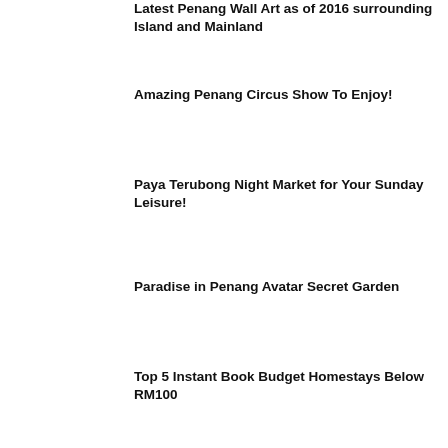Latest Penang Wall Art as of 2016 surrounding Island and Mainland
Amazing Penang Circus Show To Enjoy!
Paya Terubong Night Market for Your Sunday Leisure!
Paradise in Penang Avatar Secret Garden
Top 5 Instant Book Budget Homestays Below RM100